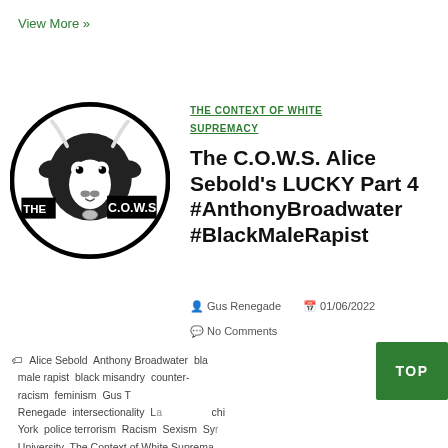View More »
[Figure (logo): The C.O.W.S. logo — black and white oval with a cartoon cow head and block text reading THE C.O.W.S]
THE CONTEXT OF WHITE SUPREMACY
The C.O.W.S. Alice Sebold's LUCKY Part 4 #AnthonyBroadwater #BlackMaleRapist
Gus Renegade  01/06/2022
No Comments
Alice Sebold  Anthony Broadwater  black male rapist  black misandry  counter-racism  feminism  Gus T Renegade  intersectionality  La… …chi  York  police terrorism  Racism  Sexism  Syr…  University  The Context of White Suprema…